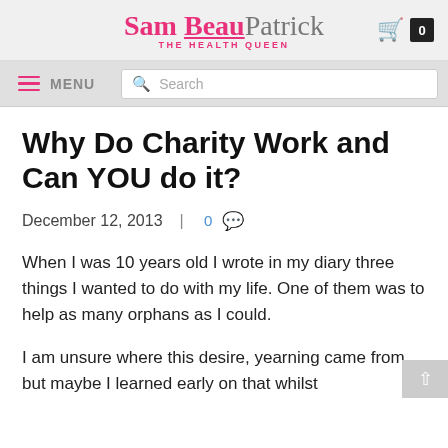Sam Beau Patrick THE HEALTH QUEEN
Why Do Charity Work and Can YOU do it?
December 12, 2013  |  0
When I was 10 years old I wrote in my diary three things I wanted to do with my life. One of them was to help as many orphans as I could.
I am unsure where this desire, yearning came from but maybe I learned early on that whilst